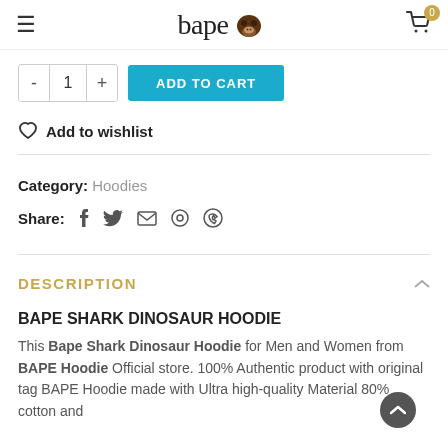bape
- 1 + ADD TO CART
Add to wishlist
Category: Hoodies
Share:
DESCRIPTION
BAPE SHARK DINOSAUR HOODIE
This Bape Shark Dinosaur Hoodie for Men and Women from BAPE Hoodie Official store. 100% Authentic product with original tag BAPE Hoodie made with Ultra high-quality Material 80% cotton and